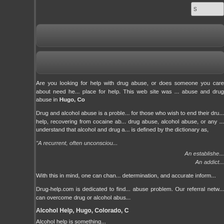[Figure (screenshot): Dark navigation button bar 1]
[Figure (screenshot): Dark navigation button bar 2]
Are you looking for help with drug abuse, or does someone you care about need help? You've found the right place for help. This web site was created to help alcohol abuse and drug abuse in Hugo, Co
Drug and alcohol abuse is a problem, but there is help for those who wish to end their drug addiction. To get help, recovering from cocaine abuse, prescription drug abuse, alcohol abuse, or any other addiction, understand that alcohol and drug addiction (a habit) is defined by the dictionary as,
"A recurrent, often unconsciou...
An establishe...
An addict...
With this in mind, one can chan... determination, and accurate inform...
Drug-help.com is dedicated to find... abuse problem. Our referral netw... can overcome drug or alcohol abus...
Alcohol Help, Hugo, Colorado, C
Alcohol help is something...